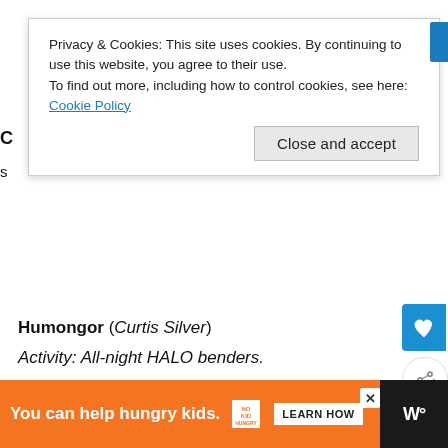Privacy & Cookies: This site uses cookies. By continuing to use this website, you agree to their use. To find out more, including how to control cookies, see here: Cookie Policy
Close and accept
Humongor (Curtis Silver)
Activity: All-night HALO benders.
Bottle of Jonnie Walker Black or Red
Liter of Mountain Dew
One large sports cup
[Figure (other): Blue banner with italic text reading “You okay?” in light color]
You can help hungry kids. NOKID HUNGRY LEARN HOW